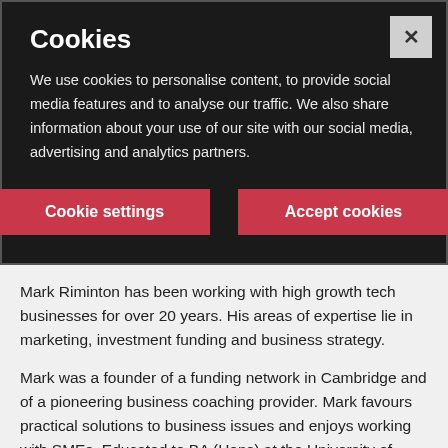Cookies
We use cookies to personalise content, to provide social media features and to analyse our traffic. We also share information about your use of our site with our social media, advertising and analytics partners.
Cookie settings | Accept cookies
Mark Riminton has been working with high growth tech businesses for over 20 years. His areas of expertise lie in marketing, investment funding and business strategy.
Mark was a founder of a funding network in Cambridge and of a pioneering business coaching provider. Mark favours practical solutions to business issues and enjoys working with SMEs. Educated to BA (Hons) at the University of Wales, Mark is a Fellow of the Royal Society of Arts.
As a past school trustee, he is passionate about education